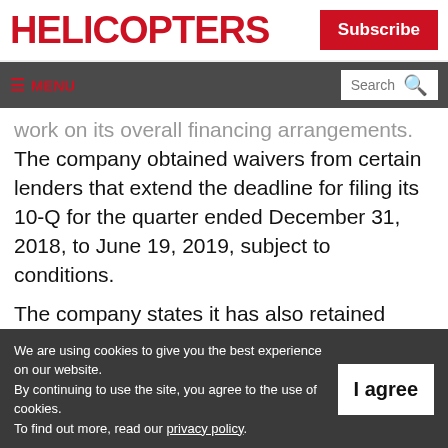HELICOPTERS
Subscribe
≡ MENU  Search 🔍
work on its overall financing arrangements. The company obtained waivers from certain lenders that extend the deadline for filing its 10-Q for the quarter ended December 31, 2018, to June 19, 2019, subject to conditions.

The company states it has also retained
We are using cookies to give you the best experience on our website. By continuing to use the site, you agree to the use of cookies. To find out more, read our privacy policy.
I agree